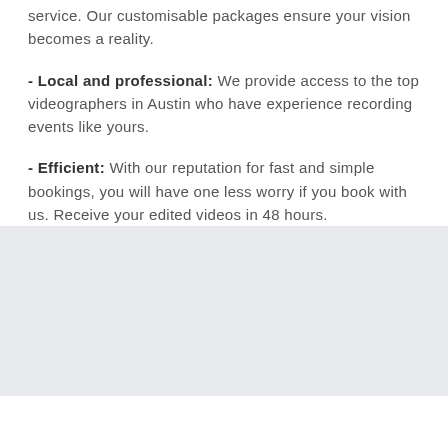service. Our customisable packages ensure your vision becomes a reality.
- Local and professional: We provide access to the top videographers in Austin who have experience recording events like yours.
- Efficient: With our reputation for fast and simple bookings, you will have one less worry if you book with us. Receive your edited videos in 48 hours.